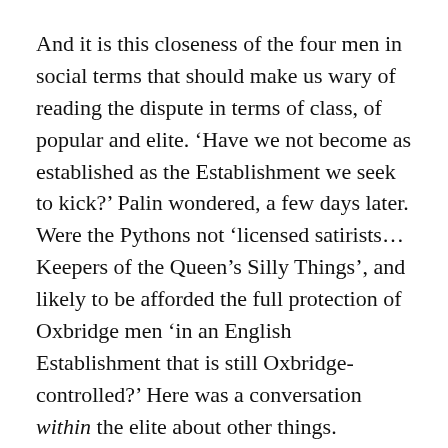And it is this closeness of the four men in social terms that should make us wary of reading the dispute in terms of class, of popular and elite. ‘Have we not become as established as the Establishment we seek to kick?’ Palin wondered, a few days later. Were the Pythons not ‘licensed satirists… Keepers of the Queen’s Silly Things’, and likely to be afforded the full protection of Oxbridge men ‘in an English Establishment that is still Oxbridge-controlled?’ Here was a conversation within the elite about other things.
So what was the dispute really about? Although much of the discussion was about the representation of Christ in the film, the law on blasphemy in particular was never really invoked. But it might have been. In July 1977 the Christian campaigner Mary Whitehouse brought a